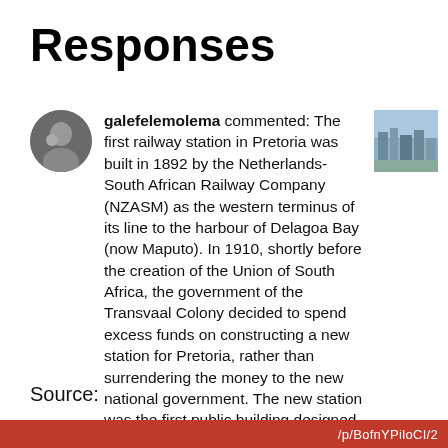Responses
galefelemolema commented: The first railway station in Pretoria was built in 1892 by the Netherlands-South African Railway Company (NZASM) as the western terminus of its line to the harbour of Delagoa Bay (now Maputo). In 1910, shortly before the creation of the Union of South Africa, the government of the Transvaal Colony decided to spend excess funds on constructing a new station for Pretoria, rather than surrendering the money to the new national government. The new station was the first public building designed by Sir Herbert Baker. 4h
Source:
/p/BofnYPiloCI/2